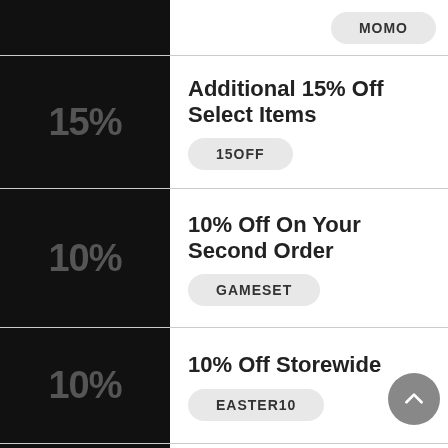MOMO
Additional 15% Off Select Items
15OFF
10% Off On Your Second Order
GAMESET
10% Off Storewide
EASTER10
20% Off Seamless